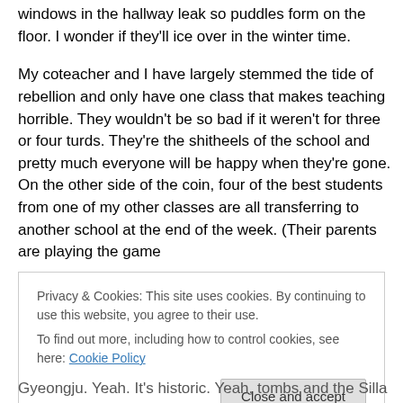windows in the hallway leak so puddles form on the floor. I wonder if they'll ice over in the winter time.
My coteacher and I have largely stemmed the tide of rebellion and only have one class that makes teaching horrible. They wouldn't be so bad if it weren't for three or four turds. They're the shitheels of the school and pretty much everyone will be happy when they're gone. On the other side of the coin, four of the best students from one of my other classes are all transferring to another school at the end of the week. (Their parents are playing the game
Privacy & Cookies: This site uses cookies. By continuing to use this website, you agree to their use.
To find out more, including how to control cookies, see here: Cookie Policy
Close and accept
Gyeongju. Yeah. It's historic. Yeah, tombs and the Silla